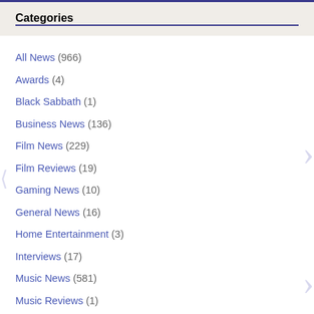Categories
All News (966)
Awards (4)
Black Sabbath (1)
Business News (136)
Film News (229)
Film Reviews (19)
Gaming News (10)
General News (16)
Home Entertainment (3)
Interviews (17)
Music News (581)
Music Reviews (1)
Ozzy Osbourne (2)